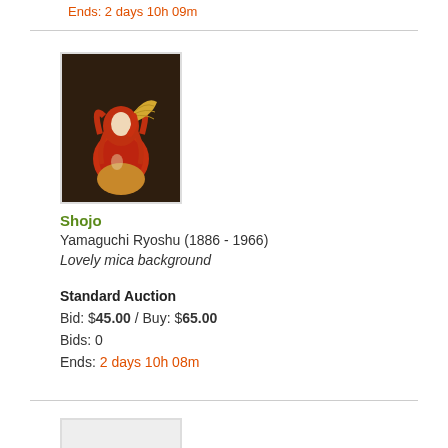Ends: 2 days 10h 09m
[Figure (photo): Japanese woodblock print showing Shojo figure with red hair and red robe holding a fan against dark brown background, framed in white]
Shojo
Yamaguchi Ryoshu (1886 - 1966)
Lovely mica background
Standard Auction
Bid: $45.00 / Buy: $65.00
Bids: 0
Ends: 2 days 10h 08m